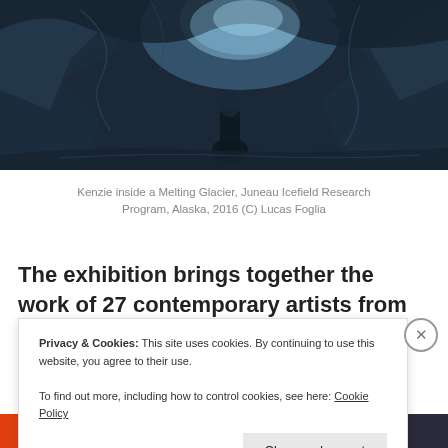[Figure (photo): A person inside a melting glacier ice cave, dark bluish tones, ice formations surrounding the figure, natural light from above through a gap in the ice.]
Kenzie inside a Melting Glacier, Juneau Icefield Research Program, Alaska, 2016 (C) Lucas Foglia
The exhibition brings together the work of 27 contemporary artists from around the globe, who are using photography, installations, sculpture, in-
Privacy & Cookies: This site uses cookies. By continuing to use this website, you agree to their use.
To find out more, including how to control cookies, see here: Cookie Policy
Close and accept
[Figure (screenshot): Bottom advertisement bar showing orange section with 'All in One Free App' text and dark section with 'DuckDuckGo' branding.]